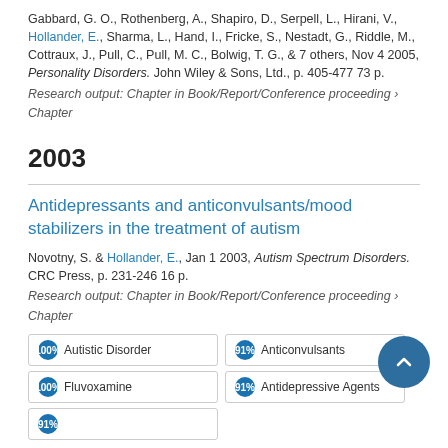Gabbard, G. O., Rothenberg, A., Shapiro, D., Serpell, L., Hirani, V., Hollander, E., Sharma, L., Hand, I., Fricke, S., Nestadt, G., Riddle, M., Cottraux, J., Pull, C., Pull, M. C., Bolwig, T. G., & 7 others, Nov 4 2005, Personality Disorders. John Wiley & Sons, Ltd., p. 405-477 73 p.
Research output: Chapter in Book/Report/Conference proceeding › Chapter
2003
Antidepressants and anticonvulsants/mood stabilizers in the treatment of autism
Novotny, S. & Hollander, E., Jan 1 2003, Autism Spectrum Disorders. CRC Press, p. 231-246 16 p.
Research output: Chapter in Book/Report/Conference proceeding › Chapter
Autistic Disorder
Anticonvulsants
Fluvoxamine
Antidepressive Agents